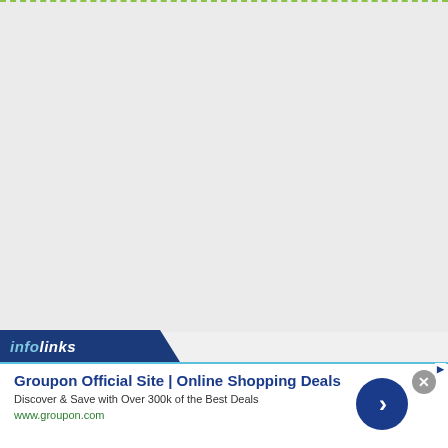[Figure (screenshot): Large blank/empty gray content area at the top of an infolinks ad page, with a dashed green border at the very top]
infolinks
Groupon Official Site | Online Shopping Deals
Discover & Save with Over 300k of the Best Deals
www.groupon.com